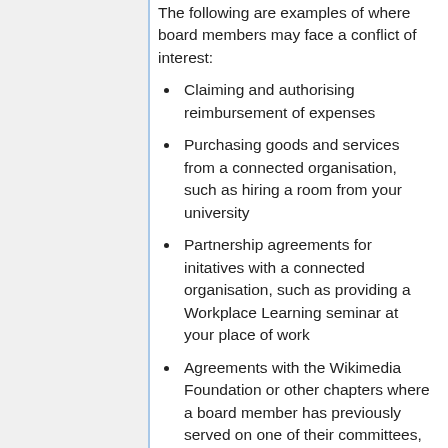The following are examples of where board members may face a conflict of interest:
Claiming and authorising reimbursement of expenses
Purchasing goods and services from a connected organisation, such as hiring a room from your university
Partnership agreements for initatives with a connected organisation, such as providing a Workplace Learning seminar at your place of work
Agreements with the Wikimedia Foundation or other chapters where a board member has previously served on one of their committees, including the English Wikipedia MedCom and ArbCom, unless they have been representing Wikimedia UK on the committee .